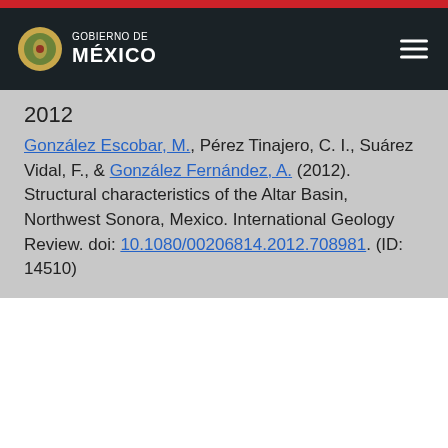Gobierno de México
2012
González Escobar, M., Pérez Tinajero, C. I., Suárez Vidal, F., & González Fernández, A. (2012). Structural characteristics of the Altar Basin, Northwest Sonora, Mexico. International Geology Review. doi: 10.1080/00206814.2012.708981. (ID: 14510)
2011
Mar Hernández, J. E., González Escobar, M., & Martín Barajas, J. A. (2011). Tectonic framework of Tiburon Basin, Gulf of California, from seismic reflection evidence